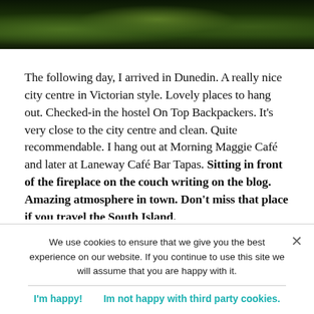[Figure (photo): Landscape photo showing a dark mountainous scene with green vegetation, appearing to be a scenic nature/travel photograph, cropped at the top of the page.]
The following day, I arrived in Dunedin. A really nice city centre in Victorian style. Lovely places to hang out. Checked-in the hostel On Top Backpackers. It’s very close to the city centre and clean. Quite recommendable. I hang out at Morning Maggie Café and later at Laneway Café Bar Tapas. Sitting in front of the fireplace on the couch writing on the blog. Amazing atmosphere in town. Don’t miss that place if you travel the South Island.
We use cookies to ensure that we give you the best experience on our website. If you continue to use this site we will assume that you are happy with it.
I’m happy!   Im not happy with third party cookies.